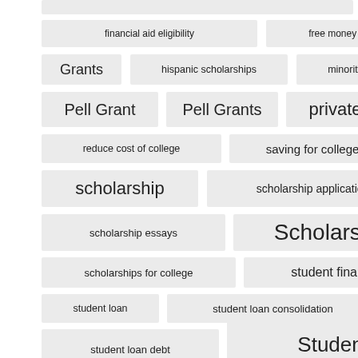[Figure (other): Tag cloud of education/scholarship related keyword tags displayed as pill-shaped labels in varying font sizes indicating relative popularity or frequency.]